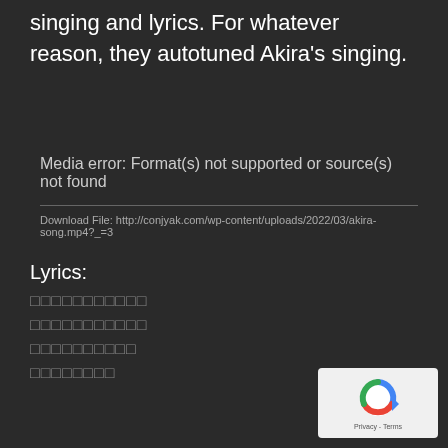singing and lyrics. For whatever reason, they autotuned Akira's singing.
Media error: Format(s) not supported or source(s) not found
Download File: http://conjyak.com/wp-content/uploads/2022/03/akira-song.mp4?_=3
Lyrics:
[Japanese lyrics line 1]
[Japanese lyrics line 2]
[Japanese lyrics line 3]
[Japanese lyrics line 4]
[Figure (logo): Google reCAPTCHA widget showing the reCAPTCHA logo (circular arrow icon) with 'Privacy - Terms' text below]